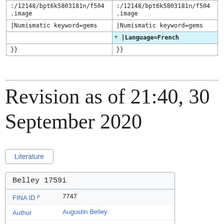| (left) | (right) |
| --- | --- |
| :/12148/bpt6k5803181n/f504.image | :/12148/bpt6k5803181n/f504.image |
| |Numismatic keyword=gems | |Numismatic keyword=gems |
|  | +|Language=French |
| }} | }} |
Revision as of 21:40, 30 September 2020
Literature
| Belley 1759i |
| --- |
| FINA ID | 7747 |
| Author | Augustin Belley |
| Title | Observations sur un camée antique |